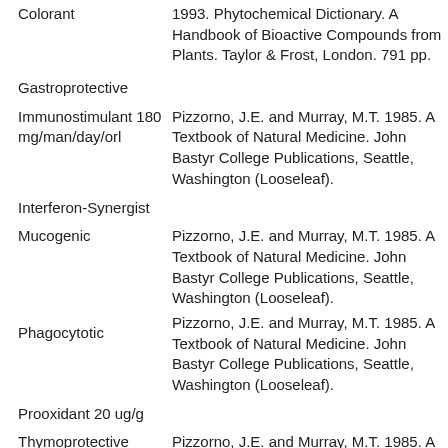Colorant
1993. Phytochemical Dictionary. A Handbook of Bioactive Compounds from Plants. Taylor & Frost, London. 791 pp.
Gastroprotective
Immunostimulant 180 mg/man/day/orl
Pizzorno, J.E. and Murray, M.T. 1985. A Textbook of Natural Medicine. John Bastyr College Publications, Seattle, Washington (Looseleaf).
Interferon-Synergist
Mucogenic
Pizzorno, J.E. and Murray, M.T. 1985. A Textbook of Natural Medicine. John Bastyr College Publications, Seattle, Washington (Looseleaf).
Pizzorno, J.E. and Murray, M.T. 1985. A Textbook of Natural Medicine. John Bastyr College Publications, Seattle, Washington (Looseleaf).
Phagocytotic
Prooxidant 20 ug/g
Thymoprotective
Pizzorno, J.E. and Murray, M.T. 1985. A Textbook of Natural Medicine. John Bastyr College Publications, Seattle, Washington (Looseleaf).
Jeffery B. Harborne and H. Baxter, eds. 1983. Phytochemical Dictionary. A